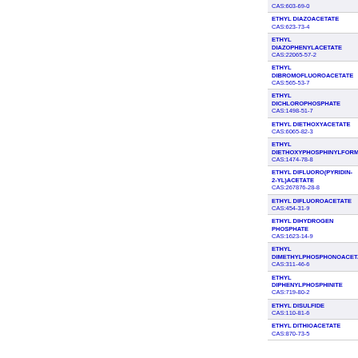CAS:603-69-0
ETHYL DIAZOACETATE
CAS:623-73-4
ETHYL DIAZOPHENYLACETATE
CAS:22065-57-2
ETHYL DIBROMOFLUOROACETATE
CAS:565-53-7
ETHYL DICHLOROPHOSPHATE
CAS:1498-51-7
ETHYL DIETHOXYACETATE
CAS:6065-82-3
ETHYL DIETHOXYPHOSPHINYLFORMATE
CAS:1474-78-8
ETHYL DIFLUORO(PYRIDIN-2-YL)ACETATE
CAS:267876-28-8
ETHYL DIFLUOROACETATE
CAS:454-31-9
ETHYL DIHYDROGEN PHOSPHATE
CAS:1623-14-9
ETHYL DIMETHYLPHOSPHONOACETATE
CAS:311-46-6
ETHYL DIPHENYLPHOSPHINITE
CAS:719-80-2
ETHYL DISULFIDE
CAS:110-81-6
ETHYL DITHIOACETATE
CAS:870-73-5